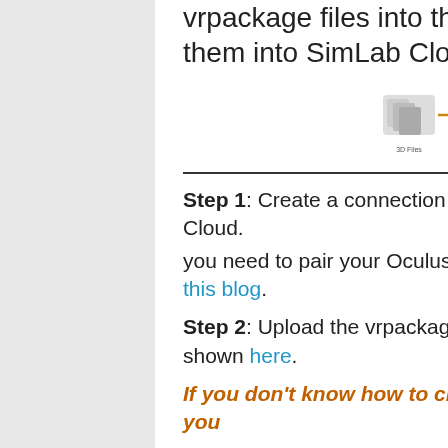vrpackage files into the Oculus Quest by uploading them into SimLab Cloud.
[Figure (infographic): Workflow diagram showing: 3D Files → vrpackage files → SimLab Cloud ↔ Oculus Quest]
Step 1: Create a connection between the Oculus quest and your SimLab Cloud.
you need to pair your Oculus quest with your SimLab account following this blog.
Step 2: Upload the vrpackage file into SimLab Cloud, detailed steps are shown here.
If you don't know how to create vrpackage files from your designs, you